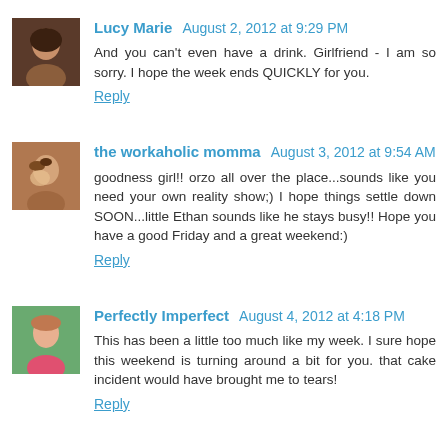Lucy Marie  August 2, 2012 at 9:29 PM
And you can't even have a drink. Girlfriend - I am so sorry. I hope the week ends QUICKLY for you.
Reply
the workaholic momma  August 3, 2012 at 9:54 AM
goodness girl!! orzo all over the place...sounds like you need your own reality show;) I hope things settle down SOON...little Ethan sounds like he stays busy!! Hope you have a good Friday and a great weekend:)
Reply
Perfectly Imperfect  August 4, 2012 at 4:18 PM
This has been a little too much like my week. I sure hope this weekend is turning around a bit for you. that cake incident would have brought me to tears!
Reply